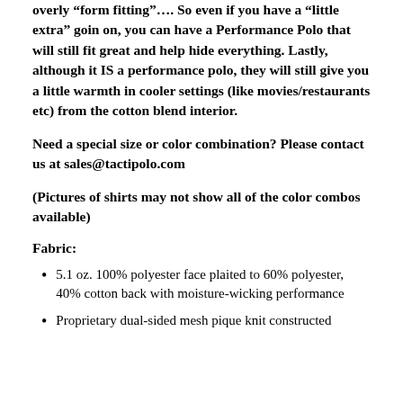overly “form fitting”…. So even if you have a “little extra” goin on, you can have a Performance Polo that will still fit great and help hide everything. Lastly, although it IS a performance polo, they will still give you a little warmth in cooler settings (like movies/restaurants etc) from the cotton blend interior.
Need a special size or color combination? Please contact us at sales@tactipolo.com
(Pictures of shirts may not show all of the color combos available)
Fabric:
5.1 oz. 100% polyester face plaited to 60% polyester, 40% cotton back with moisture-wicking performance
Proprietary dual-sided mesh pique knit constructed